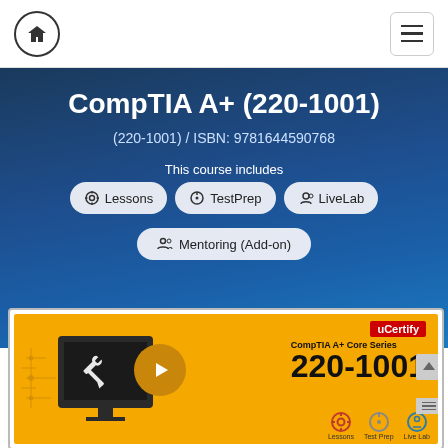Home | Menu navigation
CompTIA A+ (220-1001)
(220-1001) / ISBN: 9781644590768
This course includes
Lessons
TestPrep
LiveLab
Mentoring (Add-on)
[Figure (screenshot): uCertify CompTIA A+ Core Series 220-1001 course book cover thumbnail with orange background, monitor with tools, play button, and icons for Lessons, Test Prep, Live Lab]